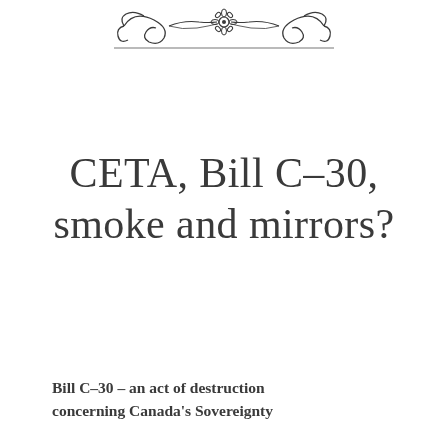[Figure (illustration): Decorative ornamental divider with floral/scroll motif at top of page]
CETA, Bill C-30, smoke and mirrors?
Bill C-30 – an act of destruction concerning Canada's Sovereignty